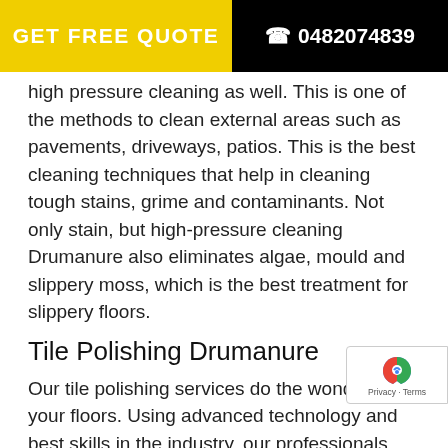GET FREE QUOTE  0482074839
high pressure cleaning as well. This is one of the methods to clean external areas such as pavements, driveways, patios. This is the best cleaning techniques that help in cleaning tough stains, grime and contaminants. Not only stain, but high-pressure cleaning Drumanure also eliminates algae, mould and slippery moss, which is the best treatment for slippery floors.
Tile Polishing Drumanure
Our tile polishing services do the wonder with your floors. Using advanced technology and best skills in the industry, our professionals make your floors and tiles nicely polished and give them a nice finish. Our latest tools eliminate even the finest of the stains from your floor tiles and leave nicely done. Hence, if you are looking for the best tile restoration services Drumanure, no one can beat the